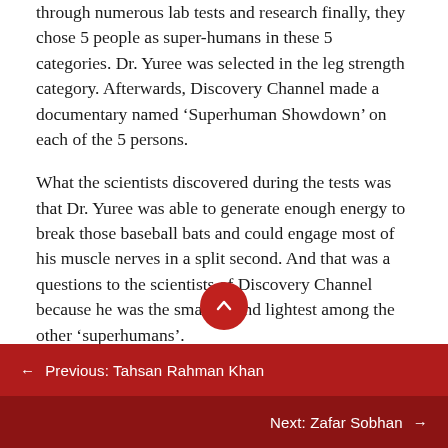through numerous lab tests and research finally, they chose 5 people as super-humans in these 5 categories. Dr. Yuree was selected in the leg strength category. Afterwards, Discovery Channel made a documentary named ‘Superhuman Showdown’ on each of the 5 persons.
What the scientists discovered during the tests was that Dr. Yuree was able to generate enough energy to break those baseball bats and could engage most of his muscle nerves in a split second. And that was a questions to the scientists of Discovery Channel because he was the smallest and lightest among the other ‘superhumans’.
← Previous: Tahsan Rahman Khan
Next: Zafar Sobhan →